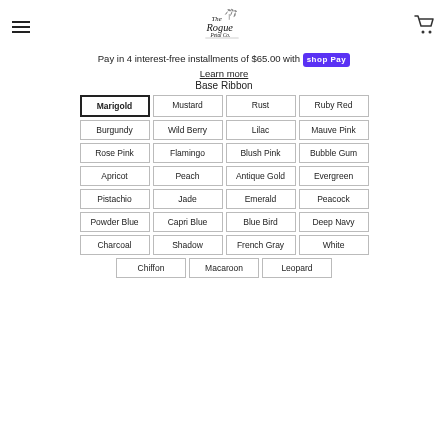The Rogue Petal Co. — navigation header with hamburger menu and cart icon
Pay in 4 interest-free installments of $65.00 with Shop Pay
Learn more
Base Ribbon
Marigold (selected), Mustard, Rust, Ruby Red
Burgundy, Wild Berry, Lilac, Mauve Pink
Rose Pink, Flamingo, Blush Pink, Bubble Gum
Apricot, Peach, Antique Gold, Evergreen
Pistachio, Jade, Emerald, Peacock
Powder Blue, Capri Blue, Blue Bird, Deep Navy
Charcoal, Shadow, French Gray, White
Chiffon, Macaroon, Leopard